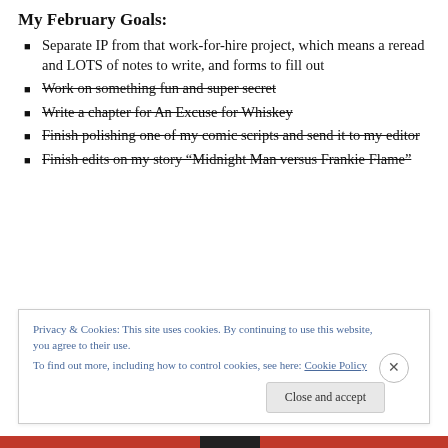My February Goals:
Separate IP from that work-for-hire project, which means a reread and LOTS of notes to write, and forms to fill out
Work on something fun and super secret
Write a chapter for An Excuse for Whiskey
Finish polishing one of my comic scripts and send it to my editor
Finish edits on my story “Midnight Man versus Frankie Flame”
Privacy & Cookies: This site uses cookies. By continuing to use this website, you agree to their use.
To find out more, including how to control cookies, see here: Cookie Policy